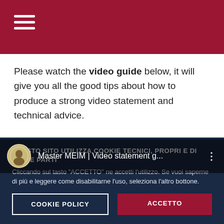[Figure (screenshot): Dark red/crimson header navigation bar with hamburger menu icon (three white horizontal lines) on the left.]
Please watch the video guide below, it will give you all the good tips about how to produce a strong video statement and technical advice.
[Figure (screenshot): YouTube video thumbnail showing 'Master MEIM | Video statement g...' with channel logo (circular emblem), video title text, and a three-dot menu icon. Below shows a dark background with a person's head partially visible.]
QUESTO SITO UTILIZZA COOKIE TECNICI, PROPRI E DI TERZE PARTI
Cliccando sul tasto "ACCETTO" ne accetti l'utilizzo. Se vuoi saperne di più e leggere come disabilitarne l'uso, seleziona l'altro bottone.
COOKIE POLICY
ACCETTO